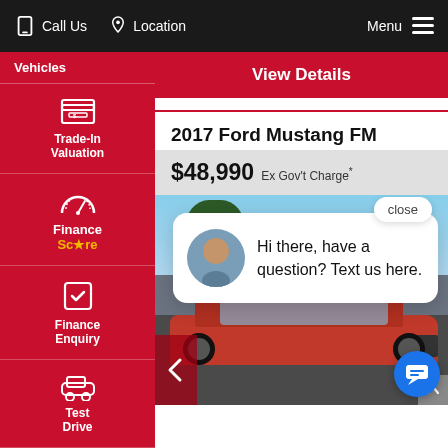Call Us   Location   Menu
Vehicles
Trade-In Valuation
Finance Score
Finance Enquiry
Test Drive
Click To Buy
View Details
2017 Ford Mustang FM
$48,990 Ex Gov't Charge*
[Figure (photo): Red 2017 Ford Mustang FM parked in a lot, front three-quarter view, with trees and blue sky in background]
Hi there, have a question? Text us here.